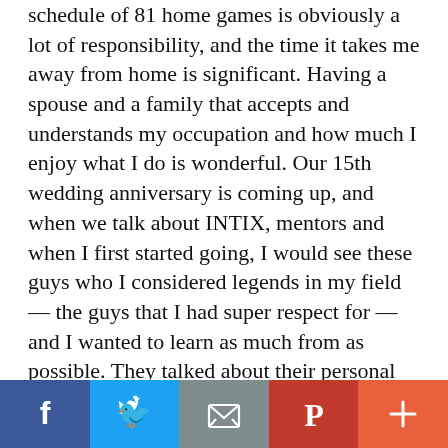schedule of 81 home games is obviously a lot of responsibility, and the time it takes me away from home is significant. Having a spouse and a family that accepts and understands my occupation and how much I enjoy what I do is wonderful. Our 15th wedding anniversary is coming up, and when we talk about INTIX, mentors and when I first started going, I would see these guys who I considered legends in my field — the guys that I had super respect for — and I wanted to learn as much from as possible. They talked about their personal relationships and how difficult it was to maintain a work-life balance in our industry. I was like, 'Crap, I don't want to have to choose, I want it all. I want the family and I want to be able to be successful in my career.' It has not been easy for me or my family, but I am proud of being able to find that balance and maximize both of those worlds and mix them together. Just having my parents tell me
[Figure (other): Social media share bar with Facebook, Twitter, Email, Pinterest, and More buttons]